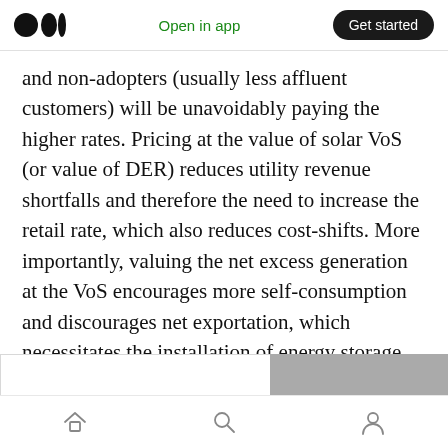Open in app | Get started
and non-adopters (usually less affluent customers) will be unavoidably paying the higher rates. Pricing at the value of solar VoS (or value of DER) reduces utility revenue shortfalls and therefore the need to increase the retail rate, which also reduces cost-shifts. More importantly, valuing the net excess generation at the VoS encourages more self-consumption and discourages net exportation, which necessitates the installation of energy storage devices (batteries).
Home | Search | Profile